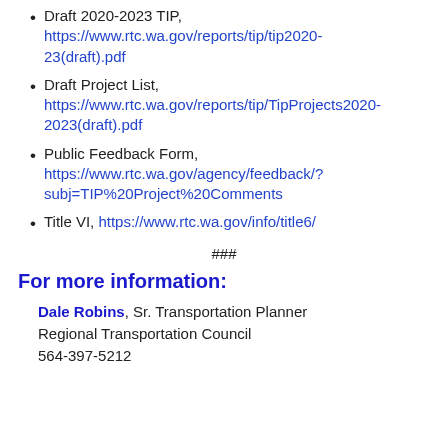Draft 2020-2023 TIP, https://www.rtc.wa.gov/reports/tip/tip2020-23(draft).pdf
Draft Project List, https://www.rtc.wa.gov/reports/tip/TipProjects2020-2023(draft).pdf
Public Feedback Form, https://www.rtc.wa.gov/agency/feedback/?subj=TIP%20Project%20Comments
Title VI, https://www.rtc.wa.gov/info/title6/
###
For more information:
Dale Robins, Sr. Transportation Planner
Regional Transportation Council
564-397-5212